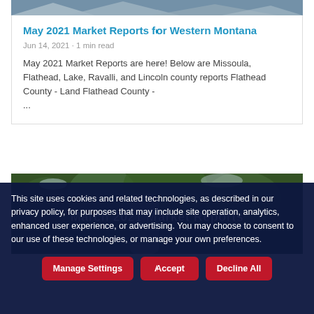[Figure (photo): Mountain landscape with snow-capped peaks, partially visible at top of card]
May 2021 Market Reports for Western Montana
Jun 14, 2021 · 1 min read
May 2021 Market Reports are here! Below are Missoula, Flathead, Lake, Ravalli, and Lincoln county reports Flathead County - Land Flathead County - ...
[Figure (photo): Aerial view of forested area with river, overlaid text reads 'March 2021 Market Reports']
This site uses cookies and related technologies, as described in our privacy policy, for purposes that may include site operation, analytics, enhanced user experience, or advertising. You may choose to consent to our use of these technologies, or manage your own preferences.
Manage Settings
Accept
Decline All